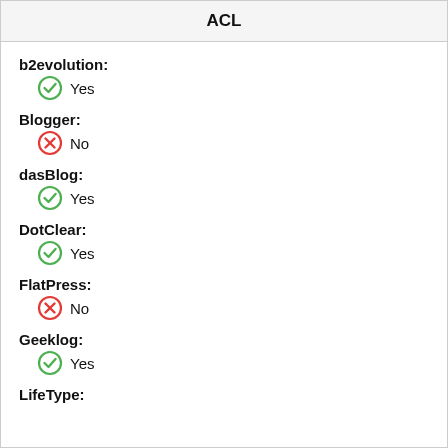ACL
b2evolution:
Yes
Blogger:
No
dasBlog:
Yes
DotClear:
Yes
FlatPress:
No
Geeklog:
Yes
LifeType: